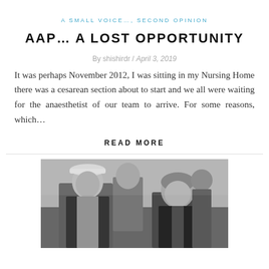A SMALL VOICE…, SECOND OPINION
AAP… A LOST OPPORTUNITY
By shishirdr / April 3, 2019
It was perhaps November 2012, I was sitting in my Nursing Home there was a cesarean section about to start and we all were waiting for the anaesthetist of our team to arrive. For some reasons, which…
READ MORE
[Figure (photo): Black and white photograph of two men, one wearing a white cap (Gandhi cap), in formal attire, with other people visible in the background.]